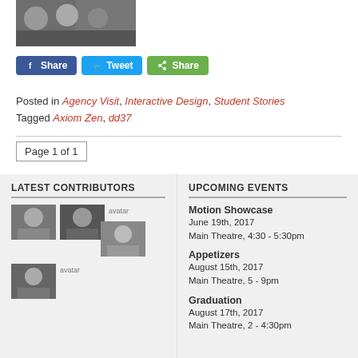[Figure (photo): Group photo of students, black and white/color mixed]
[Figure (infographic): Social share buttons: Facebook Share, Twitter Tweet, Share]
Posted in Agency Visit, Interactive Design, Student Stories
Tagged Axiom Zen, dd37
Page 1 of 1
LATEST CONTRIBUTORS
[Figure (photo): Latest Contributors avatar photos: female portrait, male with glasses, avatar placeholder, female portrait, male portrait, avatar placeholder]
UPCOMING EVENTS
Motion Showcase
June 19th, 2017
Main Theatre, 4:30 - 5:30pm
Appetizers
August 15th, 2017
Main Theatre, 5 - 9pm
Graduation
August 17th, 2017
Main Theatre, 2 - 4:30pm